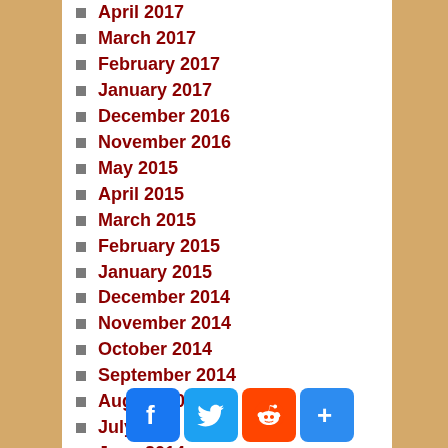April 2017
March 2017
February 2017
January 2017
December 2016
November 2016
May 2015
April 2015
March 2015
February 2015
January 2015
December 2014
November 2014
October 2014
September 2014
August 2014
July 2014
June 2014
May 2014
April 2014
March 2014
[Figure (infographic): Social sharing icons: Facebook, Twitter, Reddit, and a plus/share button]